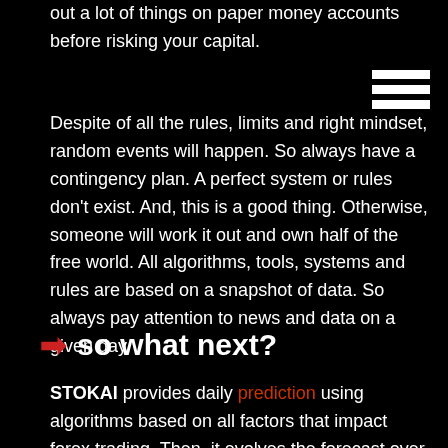out a lot of things on paper money accounts before risking your capital.
Despite of all the rules, limits and right mindset, random events will happen. So always have a contingency plan. A perfect system or rules don't exist. And, this is a good thing. Otherwise, someone will work it out and own half of the free world. All algorithms, tools, systems and rules are based on a snapshot of data. So always pay attention to news and data on a given day.
so what next?
STOKAI provides daily prediction using algorithms based on all factors that impact forex trading. Then, it evolves the forecast over 10 days in the future. Tutorial and brief user guide is